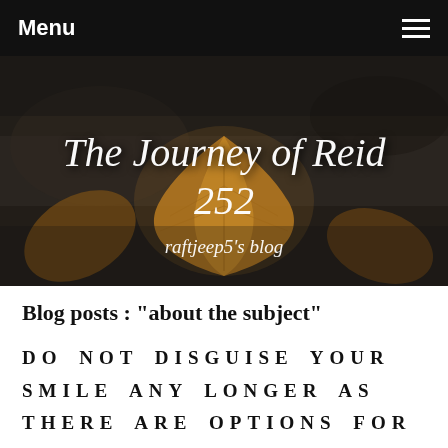Menu
[Figure (photo): Dark background photo of a dry autumn maple leaf on dark soil/gravel, with cursive white text overlay reading 'The Journey of Reid 252' and italic subtitle 'raftjeep5's blog']
The Journey of Reid 252
raftjeep5's blog
Blog posts : "about the subject"
DO NOT DISGUISE YOUR SMILE ANY LONGER AS THERE ARE OPTIONS FOR YOU!